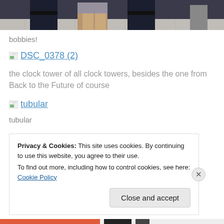[Figure (photo): Cropped photo showing people (police officers/bobbies) from waist down, standing on a tiled surface]
bobbies!
[Figure (other): Broken image link thumbnail with text 'DSC_0378 (2)' as a hyperlink]
the clock tower of all clock towers, besides the one from Back to the Future of course
[Figure (other): Broken image link thumbnail with text 'tubular' as a hyperlink]
tubular
Privacy & Cookies: This site uses cookies. By continuing to use this website, you agree to their use.
To find out more, including how to control cookies, see here: Cookie Policy